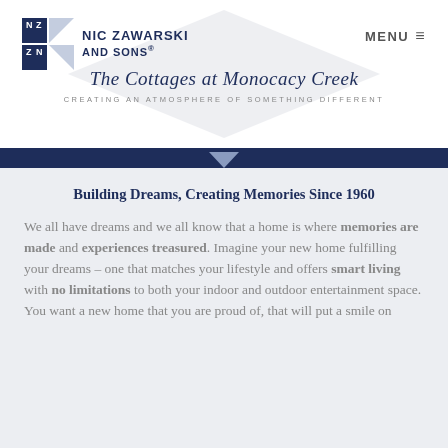Nic Zawarski and Sons® — MENU
The Cottages at Monocacy Creek
CREATING AN ATMOSPHERE OF SOMETHING DIFFERENT
Building Dreams, Creating Memories Since 1960
We all have dreams and we all know that a home is where memories are made and experiences treasured. Imagine your new home fulfilling your dreams – one that matches your lifestyle and offers smart living with no limitations to both your indoor and outdoor entertainment space. You want a new home that you are proud of, that will put a smile on